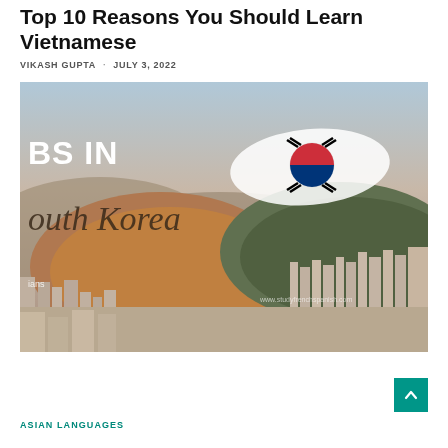Top 10 Reasons You Should Learn Vietnamese
VIKASH GUPTA · JULY 3, 2022
[Figure (photo): Aerial cityscape photo of South Korea with text overlay reading 'JOBS IN South Korea' and a South Korean flag graphic. Mountains and dense urban buildings visible. Website watermark: www.studyfrenchspanish.com]
ASIAN LANGUAGES